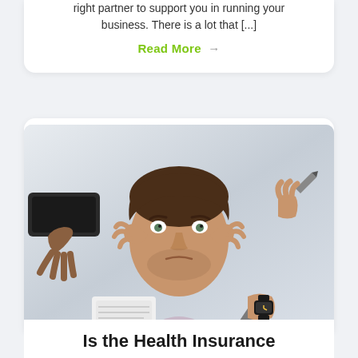right partner to support you in running your business. There is a lot that [...]
Read More →
[Figure (photo): A stressed man in a grey blazer holding his head in his hands, with multiple hands reaching toward him from different directions — one holding a phone, one holding a pen, one holding papers, and one with a watch on the wrist. The background is a light office setting.]
Is the Health Insurance